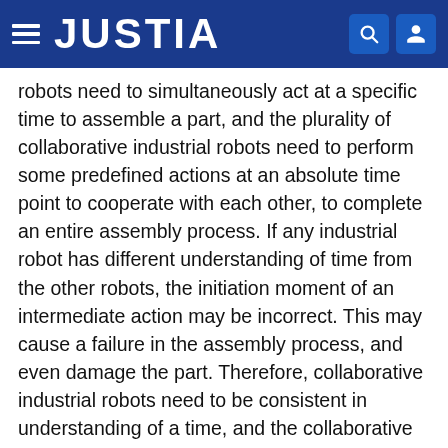JUSTIA
robots need to simultaneously act at a specific time to assemble a part, and the plurality of collaborative industrial robots need to perform some predefined actions at an absolute time point to cooperate with each other, to complete an entire assembly process. If any industrial robot has different understanding of time from the other robots, the initiation moment of an intermediate action may be incorrect. This may cause a failure in the assembly process, and even damage the part. Therefore, collaborative industrial robots need to be consistent in understanding of a time, and the collaborative industrial robots need to be synchronized to an absolute time. In other words, there is a time synchronization requirement between the robots.
Due to the advantages of a low delay and high reliability of wireless communications technologies, a network